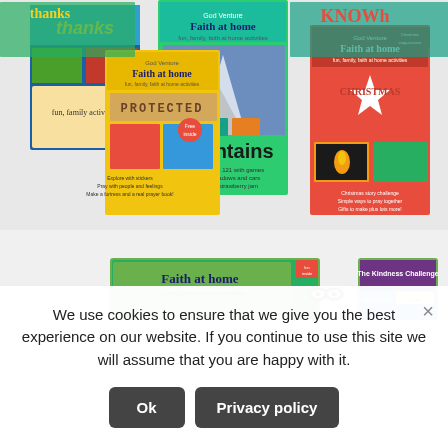[Figure (photo): Collection of 'Faith at home' book covers including titles about PROTECTED, Mountains, and Christmas, along with other children's books about thanks and KNOWh]
[Figure (photo): Two smaller product images: a 'Faith at home' booklet and 'The Kindness Challenge' activity set, partially obscured by cookie banner]
We use cookies to ensure that we give you the best experience on our website. If you continue to use this site we will assume that you are happy with it.
Ok
Privacy policy